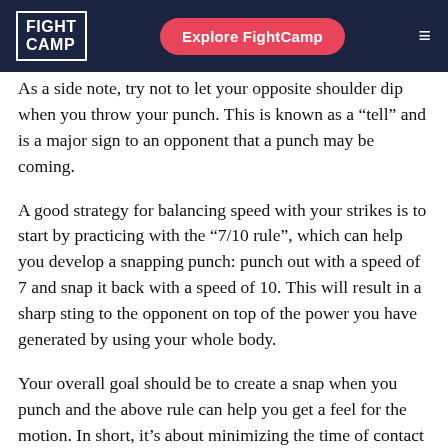FIGHT CAMP | Explore FightCamp
As a side note, try not to let your opposite shoulder dip when you throw your punch. This is known as a “tell” and is a major sign to an opponent that a punch may be coming.
A good strategy for balancing speed with your strikes is to start by practicing with the “7/10 rule”, which can help you develop a snapping punch: punch out with a speed of 7 and snap it back with a speed of 10. This will result in a sharp sting to the opponent on top of the power you have generated by using your whole body.
Your overall goal should be to create a snap when you punch and the above rule can help you get a feel for the motion. In short, it’s about minimizing the time of contact with an opponent or bag.
You’ll know you’ve aced this technique when your